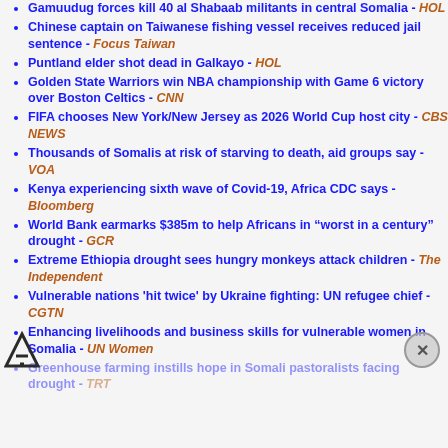Gamuudug forces kill 40 al Shabaab militants in central Somalia - HOL
Chinese captain on Taiwanese fishing vessel receives reduced jail sentence - Focus Taiwan
Puntland elder shot dead in Galkayo - HOL
Golden State Warriors win NBA championship with Game 6 victory over Boston Celtics - CNN
FIFA chooses New York/New Jersey as 2026 World Cup host city - CBS NEWS
Thousands of Somalis at risk of starving to death, aid groups say - VOA
Kenya experiencing sixth wave of Covid-19, Africa CDC says - Bloomberg
World Bank earmarks $385m to help Africans in “worst in a century” drought - GCR
Extreme Ethiopia drought sees hungry monkeys attack children - The Independent
Vulnerable nations 'hit twice' by Ukraine fighting: UN refugee chief - CGTN
Enhancing livelihoods and business skills for vulnerable women in Somalia - UN Women
Greenhouse farming instills hope in Somali pastoralists facing drought - TRT